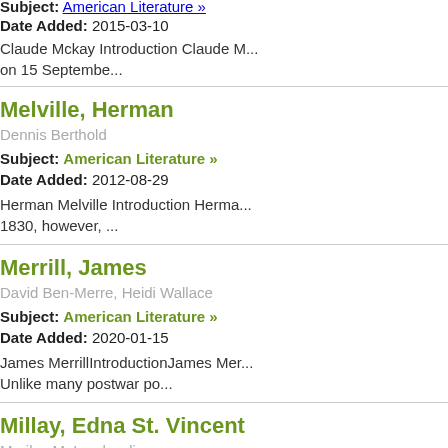Myriam Snaney
Subject: American Literature »
Date Added: 2015-03-10
Claude Mckay Introduction Claude M... on 15 Septembe...
Melville, Herman
Dennis Berthold
Subject: American Literature »
Date Added: 2012-08-29
Herman Melville Introduction Herma... 1830, however, ...
Merrill, James
David Ben-Merre, Heidi Wallace
Subject: American Literature »
Date Added: 2020-01-15
James MerrillIntroductionJames Mer... Unlike many postwar po...
Millay, Edna St. Vincent
Marilyn M. Lombardi